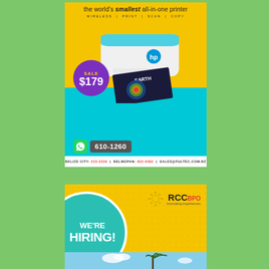[Figure (advertisement): HP printer advertisement on yellow/teal background. Shows 'the world's smallest all-in-one printer', WIRELESS | PRINT | SCAN | COPY, a purple sale badge with SALE $179, WhatsApp number 610-1260, and contact bar: BELIZE CITY: 223-3226 | BELMOPAN: 822-0482 | sales@fultec.com.bz]
[Figure (advertisement): RCC BPO 'WE'RE HIRING!' advertisement on yellow background with teal circle and company logo]